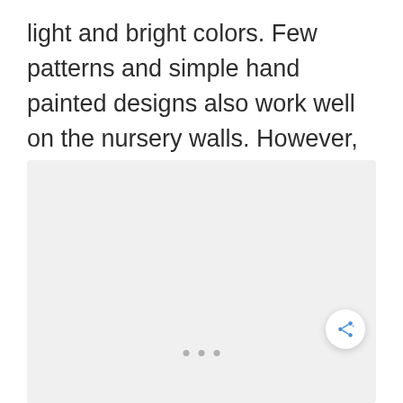light and bright colors. Few patterns and simple hand painted designs also work well on the nursery walls. However, dark colors should be avoided at all costs.
[Figure (photo): A light gray placeholder image area for a nursery-related photo, with three small dots at the bottom center indicating a carousel/slideshow, and a share button (circular white button with a share icon) at the bottom right.]